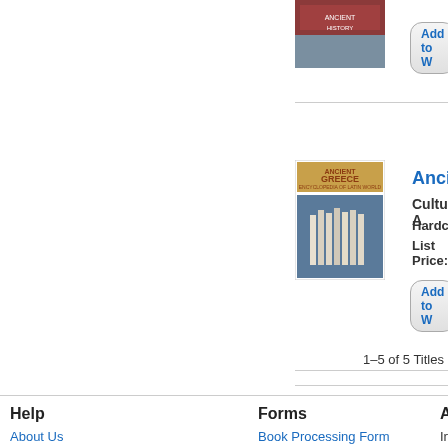[Figure (photo): Book cover thumbnail (partially visible, top of page)]
Add to W
[Figure (photo): Book cover for Ancient Greece showing Parthenon columns with title 'ANCIENT GREECE']
Ancient G...
Cultural A...
Hardcover
List Price:
Add to W
1–5 of 5 Titles
Help
About Us
Contact Us
Job Openings
Privacy Policy
Forms
Book Processing Form
Blank Order Form
eBook Registration Form
Ac
Inf
13
16
Ne